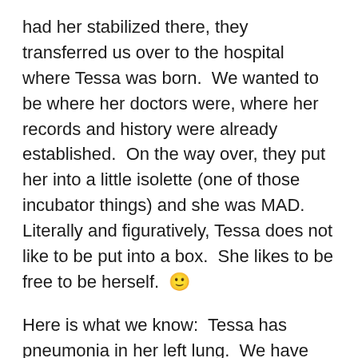had her stabilized there, they transferred us over to the hospital where Tessa was born.  We wanted to be where her doctors were, where her records and history were already established.  On the way over, they put her into a little isolette (one of those incubator things) and she was MAD.  Literally and figuratively, Tessa does not like to be put into a box.  She likes to be free to be herself.  🙂
Here is what we know:  Tessa has pneumonia in her left lung.  We have her on an antibiotic to fight any bacterial infection that may be present and are testing for viral infections.  She does not have RSV.  They are doing a full panel to try to find the cause of her illness.  When we were leaving the ER and headed to the PICU, she was on 100% oxygen.  She's now down to 65%.  They have her on a Bubble CPAP (same type of thing used for sleep apnea).  They need to begin to get her off the CPAP and on to the